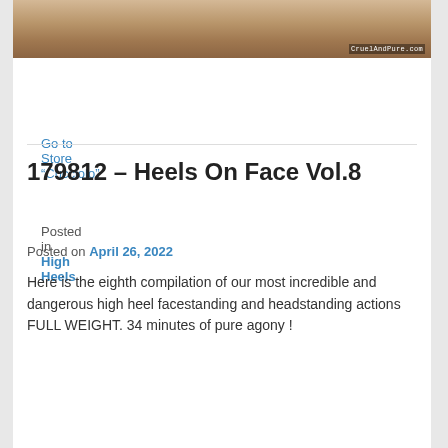[Figure (photo): Cropped photo of high heels with a watermark reading 'CruelAndPure.com' in bottom right corner]
Go to Store “Cucciolo”
Posted in High Heels
179812 – Heels On Face Vol.8
Posted on April 26, 2022
Here is the eighth compilation of our most incredible and dangerous high heel facestanding and headstanding actions FULL WEIGHT. 34 minutes of pure agony !
[Figure (photo): Photo of a woman in a black costume against a dark backdrop with a wooden frame visible on the right side]